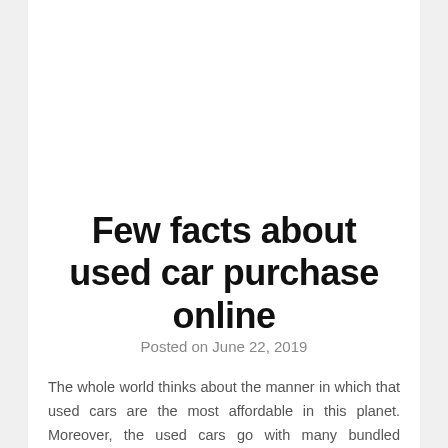Few facts about used car purchase online
Posted on June 22, 2019
The whole world thinks about the manner in which that used cars are the most affordable in this planet. Moreover, the used cars go with many bundled additional items, which make acquiring aused car continuously productive. All the used cars that are available will be in top condition. The